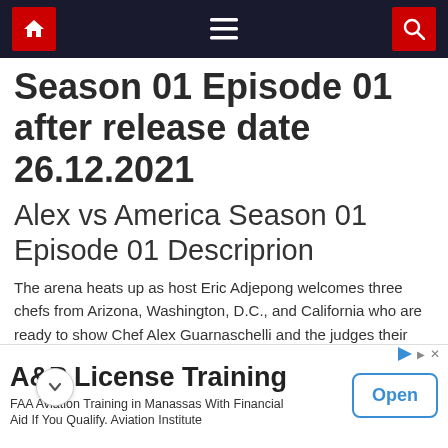Navigation bar with home, menu, and search icons
Season 01 Episode 01 after release date 26.12.2021
Alex vs America Season 01 Episode 01 Descriprion
The arena heats up as host Eric Adjepong welcomes three chefs from Arizona, Washington, D.C., and California who are ready to show Chef Alex Guarnaschelli and the judges their unique take on cooking with spice. Their strategy of choosing ingredients in round one could help them succeed, but it may not be enough to get them a win in the second round. Judges Antonia Lofaso and Bricia Lopez determine which can stand the heat and take the win.
[Figure (other): Advertisement banner for A&P License Training - FAA Aviation Training in Manassas With Financial Aid If You Qualify. Aviation Institute. Has an Open button.]